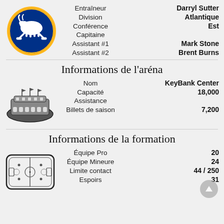[Figure (logo): Buffalo Sabres NHL team logo — circular badge with dark blue background, white buffalo and two crossed hockey sticks, gold/yellow border]
Entraîneur
Division
Conférence
Capitaine
Assistant #1
Assistant #2
Darryl Sutter
Atlantique
Est

Mark Stone
Brent Burns
Informations de l'aréna
[Figure (illustration): Black and white illustration of a sports arena/stadium viewed from above at an angle]
Nom
Capacité
Assistance
Billets de saison
KeyBank Center
18,000

7,200
Informations de la formation
[Figure (illustration): Black and white illustration of a hockey rink viewed from above]
Équipe Pro
Équipe Mineure
Limite contact
Espoirs
20
24
44 / 250
31